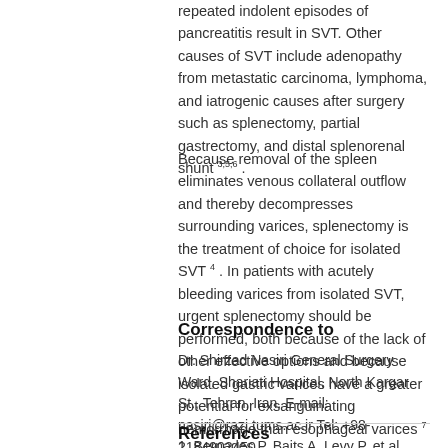repeated indolent episodes of pancreatitis result in SVT. Other causes of SVT include adenopathy from metastatic carcinoma, lymphoma, and iatrogenic causes after surgery such as splenectomy, partial gastrectomy, and distal splenorenal shunt 3,5,6 .
Because removal of the spleen eliminates venous collateral outflow and thereby decompresses surrounding varices, splenectomy is the treatment of choice for isolated SVT 4 . In patients with acutely bleeding varices from isolated SVT, urgent splenectomy should be performed, both because of the lack of other effective options and because isolated gastric varices have a greater potential for exsanguinating hemorrhage than esophageal varices 7 .
Correspondence to
Dr. Shirzad Nasiri General Surgery Ward, Shariati Hospital, North Kargar St., Tehran, Iran. E-mail: nasiri@razi.tums.ac.ir Tel: +98-2184902450
References
1. Bernades P, Baits A, Levy P, et al. Splenic portal